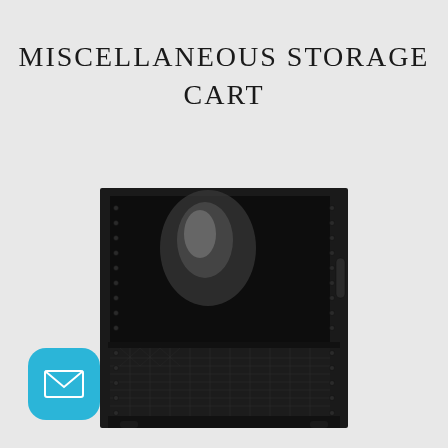MISCELLANEOUS STORAGE CART
[Figure (photo): A black metal miscellaneous storage cart shown open, with a large upper open bay with reflective interior and a lower mesh/perforated panel section. The cart has rails with mounting holes on the sides and a small handle on the right side. Casters are partially visible at the bottom.]
[Figure (logo): A teal/cyan rounded-square icon containing a white envelope/email symbol.]